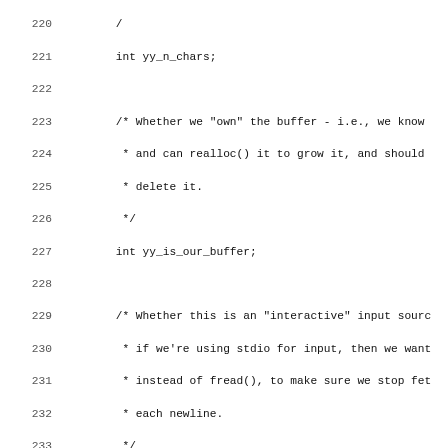Source code listing lines 220-252, showing C struct fields with comments: yy_n_chars, yy_is_our_buffer, yy_is_interactive, yy_at_bol, yy_bs_lineno, yy_bs_column, yy_fill_buffer, yy_buffer_status, and #define YY_BUFFER_NEW 0